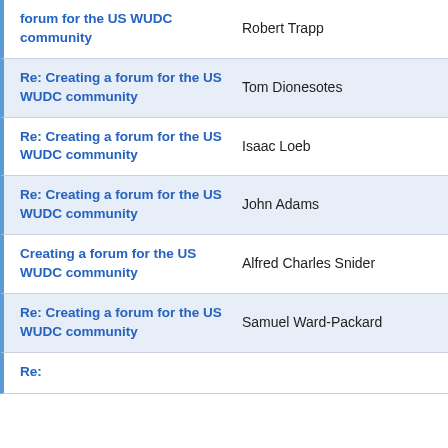| Subject | Author |
| --- | --- |
| forum for the US WUDC community | Robert Trapp |
| Re: Creating a forum for the US WUDC community | Tom Dionesotes |
| Re: Creating a forum for the US WUDC community | Isaac Loeb |
| Re: Creating a forum for the US WUDC community | John Adams |
| Creating a forum for the US WUDC community | Alfred Charles Snider |
| Re: Creating a forum for the US WUDC community | Samuel Ward-Packard |
| Re: |  |